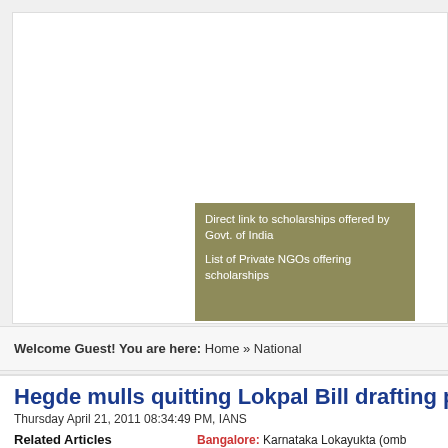[Figure (other): White advertisement/banner area with olive-colored promotional box containing text about scholarships]
Direct link to scholarships offered by Govt. of India
List of Private NGOs offering scholarships
Welcome Guest! You are here: Home » National
Hegde mulls quitting Lokpal Bill drafting panel
Thursday April 21, 2011 08:34:49 PM, IANS
Related Articles
PM firm on Lokpal bill as Bhushans fight more taint
Bangalore: Karnataka Lokayukta (omb Santosh Hegde said Thursday that he w leaving the Lokpal Bill drafting panel i campaign against some of its civil socie